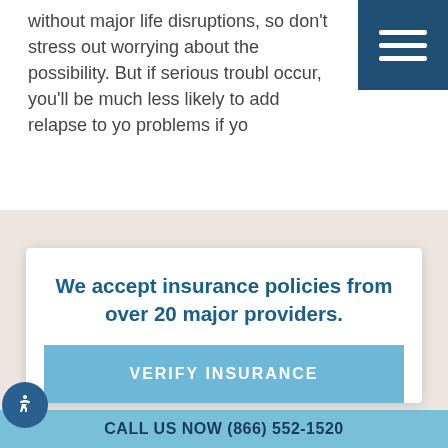without major life disruptions, so don't stress out worrying about the possibility. But if serious trouble occur, you'll be much less likely to add relapse to your problems if yo
We accept insurance policies from over 20 major providers.
VERIFY INSURANCE
PROUD MEMBERS OF
CALL US NOW (866) 552-1520